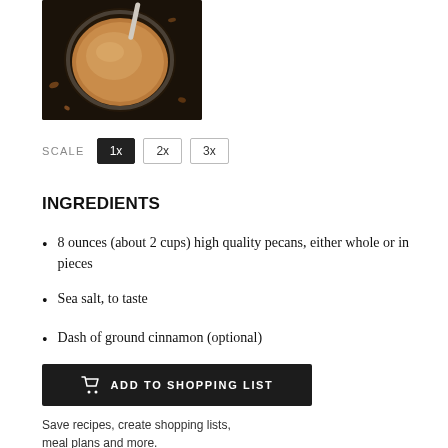[Figure (photo): Overhead view of pecan butter in a glass bowl with a spoon, on a dark background with scattered pecans]
SCALE  1x  2x  3x
INGREDIENTS
8 ounces (about 2 cups) high quality pecans, either whole or in pieces
Sea salt, to taste
Dash of ground cinnamon (optional)
ADD TO SHOPPING LIST
Save recipes, create shopping lists, meal plans and more.